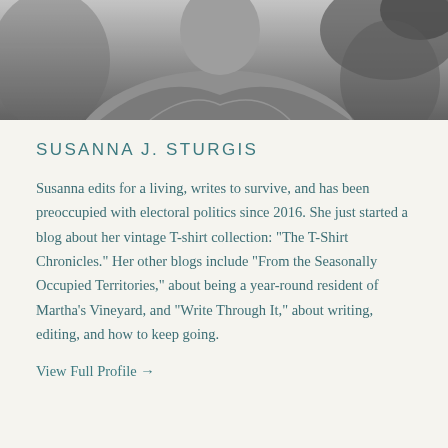[Figure (photo): Black and white photograph of Susanna J. Sturgis, cropped to show upper body, wearing a light-colored top, outdoors with foliage in background.]
SUSANNA J. STURGIS
Susanna edits for a living, writes to survive, and has been preoccupied with electoral politics since 2016. She just started a blog about her vintage T-shirt collection: "The T-Shirt Chronicles." Her other blogs include "From the Seasonally Occupied Territories," about being a year-round resident of Martha's Vineyard, and "Write Through It," about writing, editing, and how to keep going.
View Full Profile →